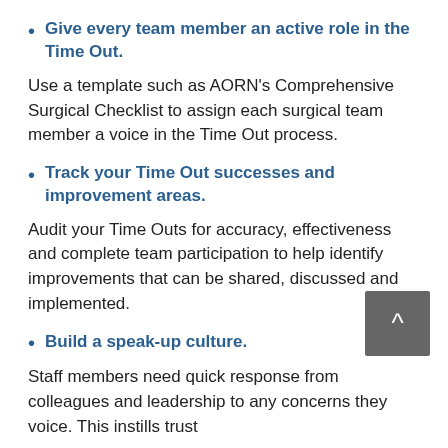Give every team member an active role in the Time Out.
Use a template such as AORN's Comprehensive Surgical Checklist to assign each surgical team member a voice in the Time Out process.
Track your Time Out successes and improvement areas.
Audit your Time Outs for accuracy, effectiveness and complete team participation to help identify improvements that can be shared, discussed and implemented.
Build a speak-up culture.
Staff members need quick response from colleagues and leadership to any concerns they voice. This instills trust